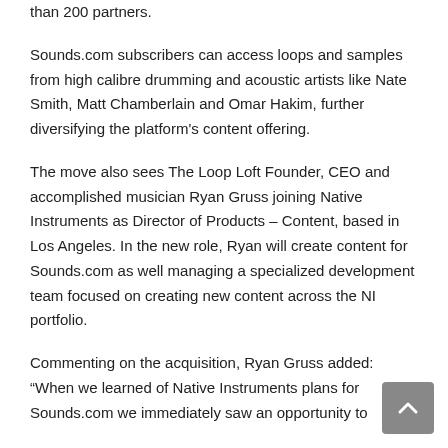than 200 partners.
Sounds.com subscribers can access loops and samples from high calibre drumming and acoustic artists like Nate Smith, Matt Chamberlain and Omar Hakim, further diversifying the platform's content offering.
The move also sees The Loop Loft Founder, CEO and accomplished musician Ryan Gruss joining Native Instruments as Director of Products – Content, based in Los Angeles. In the new role, Ryan will create content for Sounds.com as well managing a specialized development team focused on creating new content across the NI portfolio.
Commenting on the acquisition, Ryan Gruss added: “When we learned of Native Instruments plans for Sounds.com we immediately saw an opportunity to